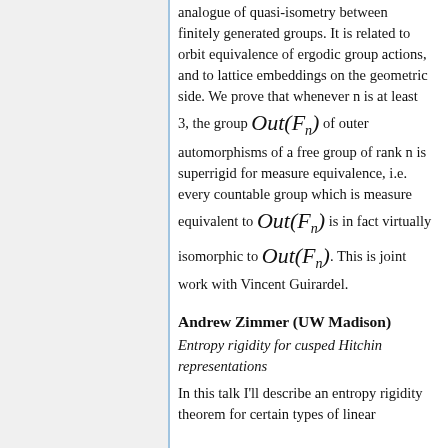analogue of quasi-isometry between finitely generated groups. It is related to orbit equivalence of ergodic group actions, and to lattice embeddings on the geometric side. We prove that whenever n is at least 3, the group Out(F_n) of outer automorphisms of a free group of rank n is superrigid for measure equivalence, i.e. every countable group which is measure equivalent to Out(F_n) is in fact virtually isomorphic to Out(F_n). This is joint work with Vincent Guirardel.
Andrew Zimmer (UW Madison)
Entropy rigidity for cusped Hitchin representations
In this talk I'll describe an entropy rigidity theorem for certain types of linear